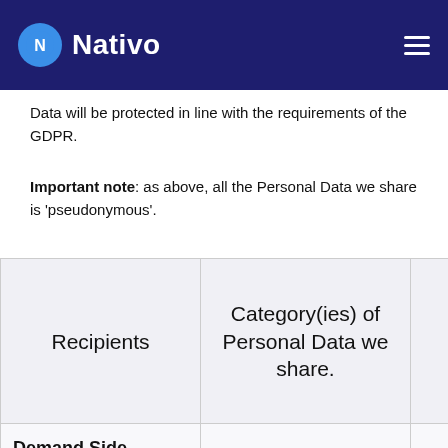Nativo
Data will be protected in line with the requirements of the GDPR.
Important note: as above, all the Personal Data we share is 'pseudonymous'.
| Recipients | Category(ies) of Personal Data we share. | Why share the Personal Da... |
| --- | --- | --- |
| Demand Side Platforms, | Segment Data |  |